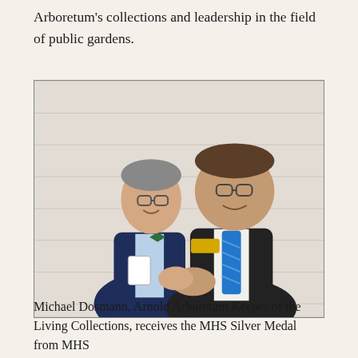Arboretum's collections and leadership in the field of public gardens.
[Figure (photo): Two men shaking hands in front of a white brick wall. The man on the left is slender, wearing glasses and a navy blazer with a green bow tie and a conference badge. The man on the right is larger, wearing a dark suit with a blue patterned tie and a yellow name badge.]
Michael Dosmann, Arnold Arboretum Keeper of the Living Collections, receives the MHS Silver Medal from MHS